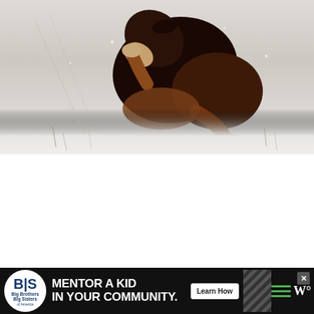[Figure (photo): A brown and black dog scratching/grooming itself while sitting in the snow. The dog is biting at its leg/paw area. The background is snowy white with sparse grass or twigs visible.]
[Figure (screenshot): UI overlay elements: a blue circular heart/like button, a light gray circular share button with a share icon, and a 'WHAT'S NEXT' card showing a thumbnail and text 'Vulture Bee: The Meat-...']
[Figure (other): Advertisement banner: Big Brothers Big Sisters logo on white circle. Text: 'MENTOR A KID IN YOUR COMMUNITY.' with a 'Learn How' button. Black background with diagonal stripe pattern and green hamburger menu icon and W logo.]